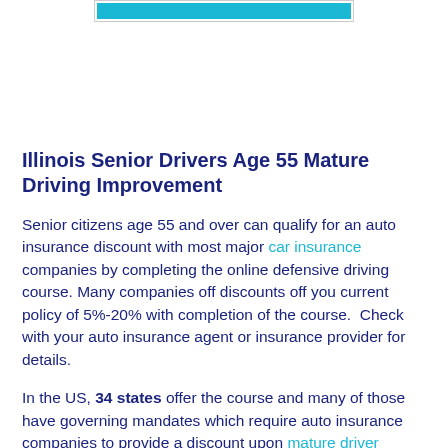[Figure (other): Teal/cyan horizontal bar inside a light bordered rectangle, decorative header element]
Illinois Senior Drivers Age 55 Mature Driving Improvement
Senior citizens age 55 and over can qualify for an auto insurance discount with most major car insurance companies by completing the online defensive driving course. Many companies off discounts off you current policy of 5%-20% with completion of the course.  Check with your auto insurance agent or insurance provider for details.
In the US, 34 states offer the course and many of those have governing mandates which require auto insurance companies to provide a discount upon mature driver improvement certificate.